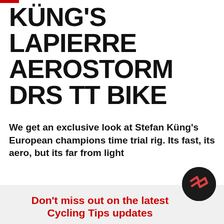KÜNG'S LAPIERRE AEROSTORM DRS TT BIKE
We get an exclusive look at Stefan Küng's European champions time trial rig. Its fast, its aero, but its far from light
[Figure (photo): Circular author headshot of Ronan Mc Laughlin wearing a blue shirt, outdoors background]
BY RONAN MC LAUGHLIN
PHOTOGRAPHY BY RONAN MC LAUGHLIN
JULY 17, 2021
2 MINUTE READ
[Figure (logo): Cycling Tips logo - dark circle with red zigzag/lightning bolt mark]
Don't miss out on the latest Cycling Tips updates